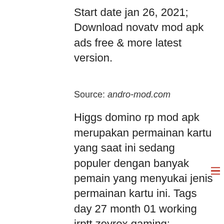Start date jan 26, 2021; Download novatv mod apk ads free & more latest version.
Source: andro-mod.com
Higgs domino rp mod apk merupakan permainan kartu yang saat ini sedang populer dengan banyak pemain yang menyukai jenis permainan kartu ini. Tags day 27 month 01 working jrptt zeyrox gaming;
Source: playsposter.com
You can watch unlimited movies without suffering any buffering speeds on this